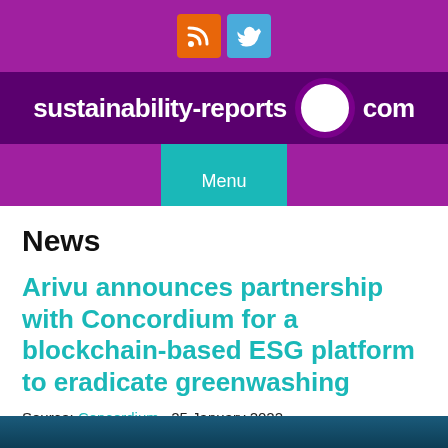sustainability-reports.com
News
Arivu announces partnership with Concordium for a blockchain-based ESG platform to eradicate greenwashing
Source: Concordium , 25 January 2022